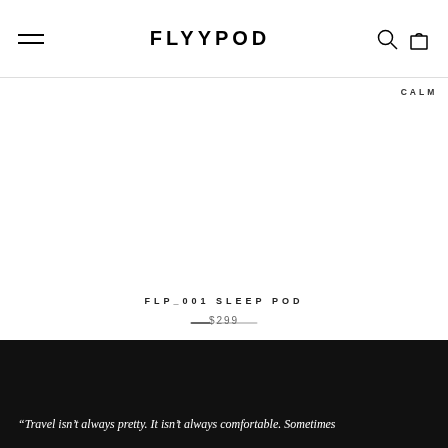FLYYPOD
[Figure (photo): Product image area for FLP_001 Sleep Pod, mostly white/blank with slider indicator dots]
FLP_001 SLEEP POD
$299
CALM
“Travel isn’t always pretty. It isn’t always comfortable. Sometimes